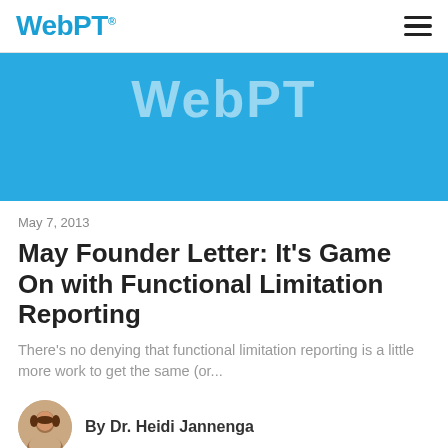WebPT
[Figure (logo): WebPT banner image with white WebPT text on a solid light blue background]
May 7, 2013
May Founder Letter: It's Game On with Functional Limitation Reporting
There's no denying that functional limitation reporting is a little more work to get the same (or...
By Dr. Heidi Jannenga